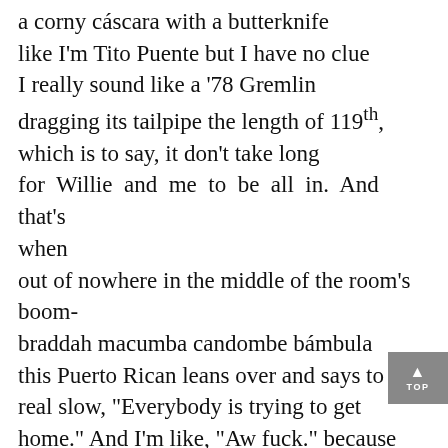a corny cáscara with a butterknife like I'm Tito Puente but I have no clue I really sound like a '78 Gremlin dragging its tailpipe the length of 119th, which is to say, it don't take long for Willie and me to be all in. And that's when out of nowhere in the middle of the room's boom- braddah macumba candombe bámbula this Puerto Rican leans over and says to me real slow, "Everybody is trying to get home." And I'm like, "Aw fuck." because I'm on 1st Ave between 115th and 116th not even invested in the full swerve yet.